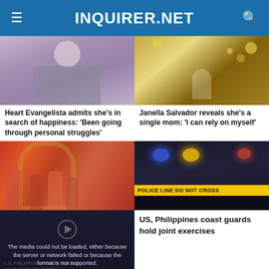INQUIRER.NET
[Figure (photo): Photo of Heart Evangelista]
Heart Evangelista admits she's in search of happiness: 'Been going through personal struggles'
[Figure (photo): Photo of Janella Salvador with child and Christmas tree]
Janella Salvador reveals she's a single mom: 'I can rely on myself'
[Figure (photo): Photo of performers in colorful outfits on stage]
[Figure (photo): Police line do not cross tape with police lights in background]
[Figure (screenshot): Video player with error message: The media could not be loaded, either because the server or network failed or because the format is not supported. Video title: U.S. PHILIPPINES COAST GUARDS HOLD JOINT EXERCISES]
US, Philippines coast guards hold joint exercises